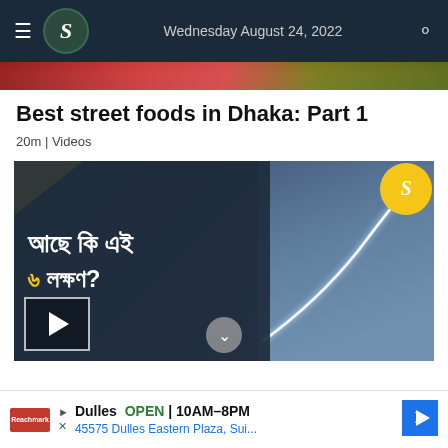Wednesday August 24, 2022
[Figure (photo): Partial top image strip showing food or colorful content]
Best street foods in Dhaka: Part 1
20m | Videos
[Figure (screenshot): Video thumbnail with Bengali text reading approximate translation of 'Do you have these 6 signs?' with a person pointing at a glowing upward curve, yellow corner accents, and a play button]
Dulles OPEN 10AM–8PM
45575 Dulles Eastern Plaza, Sui...